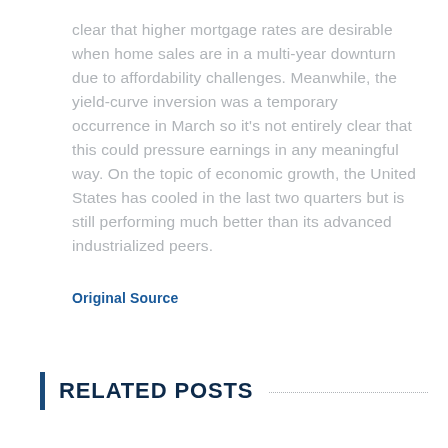clear that higher mortgage rates are desirable when home sales are in a multi-year downturn due to affordability challenges. Meanwhile, the yield-curve inversion was a temporary occurrence in March so it's not entirely clear that this could pressure earnings in any meaningful way. On the topic of economic growth, the United States has cooled in the last two quarters but is still performing much better than its advanced industrialized peers.
Original Source
RELATED POSTS